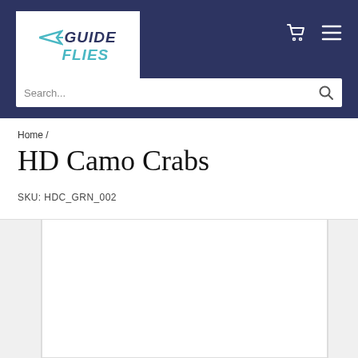Guide Flies — navigation header with logo, cart icon, menu icon, and search bar
Home /
HD Camo Crabs
SKU: HDC_GRN_002
[Figure (photo): Product image carousel area showing a white image panel flanked by grey thumbnail/navigation panels]